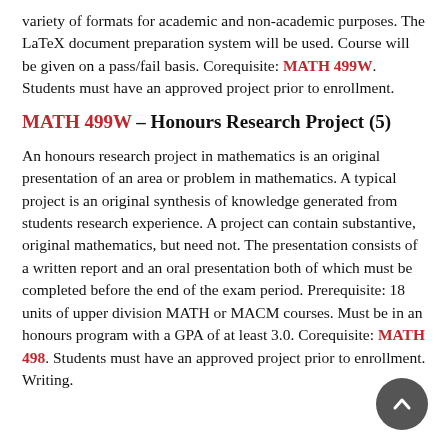variety of formats for academic and non-academic purposes. The LaTeX document preparation system will be used. Course will be given on a pass/fail basis. Corequisite: MATH 499W. Students must have an approved project prior to enrollment.
MATH 499W – Honours Research Project (5)
An honours research project in mathematics is an original presentation of an area or problem in mathematics. A typical project is an original synthesis of knowledge generated from students research experience. A project can contain substantive, original mathematics, but need not. The presentation consists of a written report and an oral presentation both of which must be completed before the end of the exam period. Prerequisite: 18 units of upper division MATH or MACM courses. Must be in an honours program with a GPA of at least 3.0. Corequisite: MATH 498. Students must have an approved project prior to enrollment. Writing.